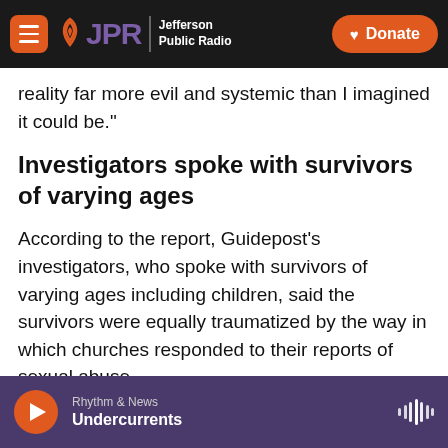JPR Jefferson Public Radio | Donate
reality far more evil and systemic than I imagined it could be."
Investigators spoke with survivors of varying ages
According to the report, Guidepost's investigators, who spoke with survivors of varying ages including children, said the survivors were equally traumatized by the way in which churches responded to their reports of sexual abuse.
Survivors "spoke of trauma from the initial abuse,
Rhythm & News | Undercurrents